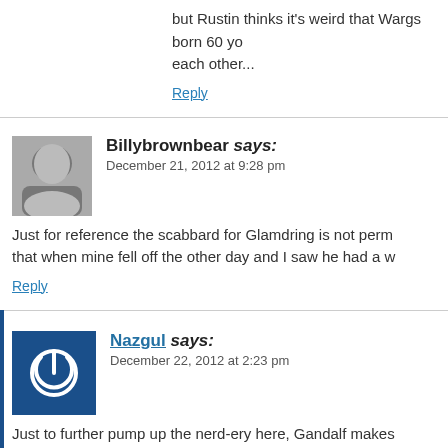but Rustin thinks it's weird that Wargs born 60 y each other...
Reply
Billybrownbear says:
December 21, 2012 at 9:28 pm
Just for reference the scabbard for Glamdring is not perm that when mine fell off the other day and I saw he had a w
Reply
Nazgul says:
December 22, 2012 at 2:23 pm
Just to further pump up the nerd-ery here, Gandalf makes Gundabad Wargs in the movie, so maybe there's some dif
Reply